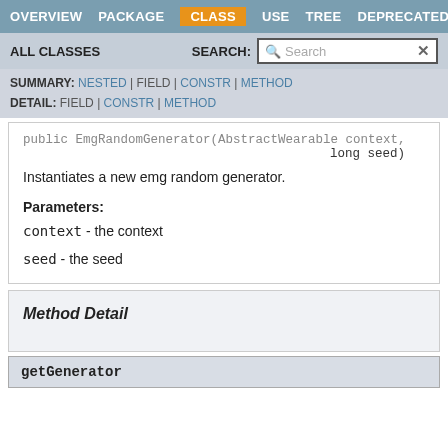OVERVIEW | PACKAGE | CLASS | USE | TREE | DEPRECATED
ALL CLASSES   SEARCH:
SUMMARY: NESTED | FIELD | CONSTR | METHOD
DETAIL: FIELD | CONSTR | METHOD
long seed)
Instantiates a new emg random generator.
Parameters:
context - the context
seed - the seed
Method Detail
getGenerator